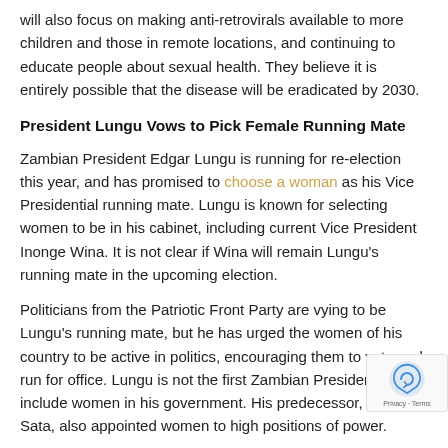will also focus on making anti-retrovirals available to more children and those in remote locations, and continuing to educate people about sexual health. They believe it is entirely possible that the disease will be eradicated by 2030.
President Lungu Vows to Pick Female Running Mate
Zambian President Edgar Lungu is running for re-election this year, and has promised to choose a woman as his Vice Presidential running mate. Lungu is known for selecting women to be in his cabinet, including current Vice President Inonge Wina. It is not clear if Wina will remain Lungu's running mate in the upcoming election.
Politicians from the Patriotic Front Party are vying to be Lungu's running mate, but he has urged the women of his country to be active in politics, encouraging them to vote and run for office. Lungu is not the first Zambian President to include women in his government. His predecessor, Michael Sata, also appointed women to high positions of power.
Nigerian Army Opens Human Rights Office
The Nigerian Army has opened an office to prevent the abu... human rights.